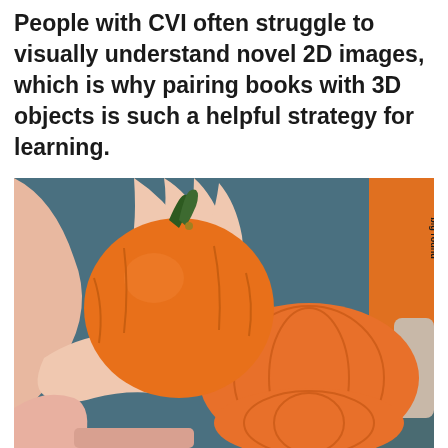People with CVI often struggle to visually understand novel 2D images, which is why pairing books with 3D objects is such a helpful strategy for learning.
[Figure (photo): Hands of a child holding a real orange pumpkin next to a flat orange 2D pumpkin cutout/shape, placed on a dark teal/grey surface. There is an orange book spine visible in the upper background with upside-down text reading 'big round'. The child is wearing a pink/salmon top.]